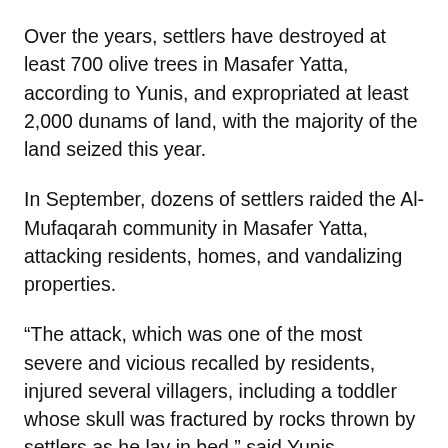Over the years, settlers have destroyed at least 700 olive trees in Masafer Yatta, according to Yunis, and expropriated at least 2,000 dunams of land, with the majority of the land seized this year.
In September, dozens of settlers raided the Al-Mufaqarah community in Masafer Yatta, attacking residents, homes, and vandalizing properties.
“The attack, which was one of the most severe and vicious recalled by residents, injured several villagers, including a toddler whose skull was fractured by rocks thrown by settlers as he lay in bed,” said Yunis.
B’Tselem said that Israeli soldiers who arrived on the scene fired tear gas canisters at residents and the settlers only left after an